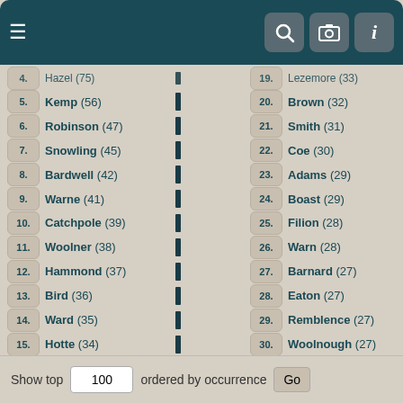Navigation bar with hamburger menu and search/camera/info icons
4. Hazel (75) | 19. Lezemore (33)
5. Kemp (56) | 20. Brown (32)
6. Robinson (47) | 21. Smith (31)
7. Snowling (45) | 22. Coe (30)
8. Bardwell (42) | 23. Adams (29)
9. Warne (41) | 24. Boast (29)
10. Catchpole (39) | 25. Filion (28)
11. Woolner (38) | 26. Warn (28)
12. Hammond (37) | 27. Barnard (27)
13. Bird (36) | 28. Eaton (27)
14. Ward (35) | 29. Remblence (27)
15. Hotte (34) | 30. Woolnough (27)
Show top 100 ordered by occurrence Go